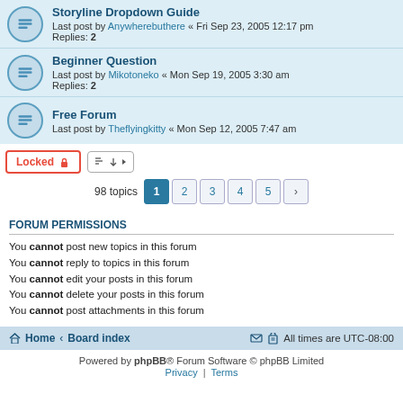Storyline Dropdown Guide — Last post by Anywherebuthere « Fri Sep 23, 2005 12:17 pm — Replies: 2
Beginner Question — Last post by Mikotoneko « Mon Sep 19, 2005 3:30 am — Replies: 2
Free Forum — Last post by Theflyingkitty « Mon Sep 12, 2005 7:47 am
Locked  [sort button]  98 topics  1  2  3  4  5  >
FORUM PERMISSIONS
You cannot post new topics in this forum
You cannot reply to topics in this forum
You cannot edit your posts in this forum
You cannot delete your posts in this forum
You cannot post attachments in this forum
Home · Board index    All times are UTC-08:00    Powered by phpBB® Forum Software © phpBB Limited    Privacy | Terms